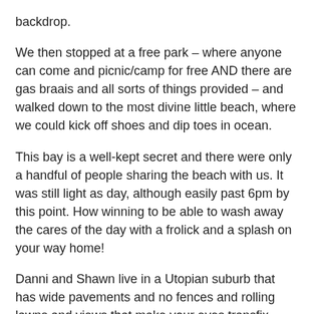backdrop.
We then stopped at a free park – where anyone can come and picnic/camp for free AND there are gas braais and all sorts of things provided – and walked down to the most divine little beach, where we could kick off shoes and dip toes in ocean.
This bay is a well-kept secret and there were only a handful of people sharing the beach with us. It was still light as day, although easily past 6pm by this point. How winning to be able to wash away the cares of the day with a frolick and a splash on your way home!
Danni and Shawn live in a Utopian suburb that has wide pavements and no fences and rolling lawns and views that make your eyes transfix. Their home is equally lovely and we had a comfy guestroom with luxurious thick soft carpets and it all felt like we were having a holiday within a holiday at some sort of leisure resort!